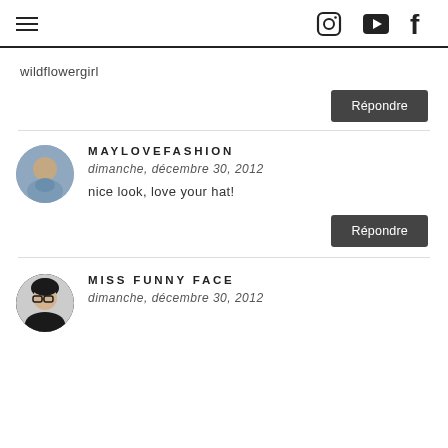Navigation and social icons header
wildflowergirl
Répondre
MAYLOVEFASHION
dimanche, décembre 30, 2012
nice look, love your hat!
Répondre
MISS FUNNY FACE
dimanche, décembre 30, 2012